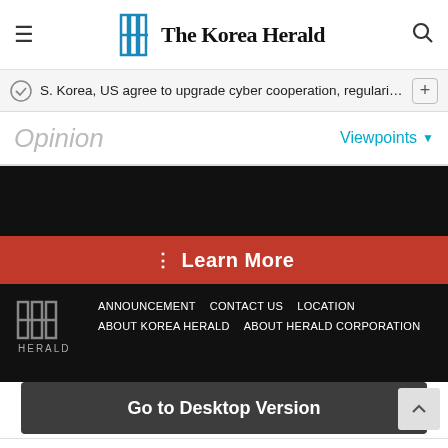The Korea Herald
S. Korea, US agree to upgrade cyber cooperation, regularize cyb…
Opinion
Viewpoints
[Figure (other): Black advertisement area with red Learn More button]
ANNOUNCEMENT   CONTACT US   LOCATION   ABOUT KOREA HERALD   ABOUT HERALD CORPORATION
Go to Desktop Version
tally   Fast credit card payoff   Download Now →